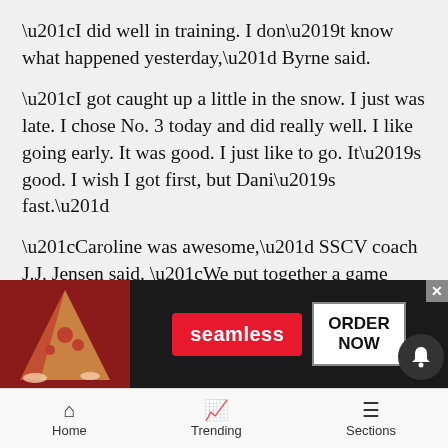“I did well in training. I don’t know what happened yesterday,” Byrne said.
“I got caught up a little in the snow. I just was late. I chose No. 3 today and did really well. I like going early. It was good. I just like to go. It’s good. I wish I got first, but Dani’s fast.”
“Caroline was awesome,” SSCV coach J.J. Jensen said. “We put together a game plan for her and she just executed it.”
The key for all was to to get forward to take the turns.
“I knew that I get late a lot and I have problems on the steeps... troubl... mp. I
[Figure (screenshot): Seamless food delivery advertisement overlay with pizza image, Seamless red button, and ORDER NOW button]
Home   Trending   Sections